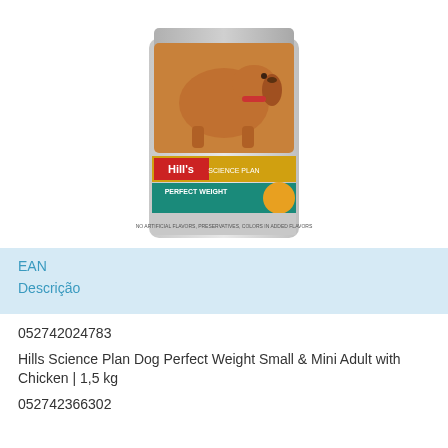[Figure (photo): Hill's Science Plan Perfect Weight dog food bag with a dachshund dog on the front]
| EAN | Descrição |
| --- | --- |
| 052742024783 | Hills Science Plan Dog Perfect Weight Small & Mini Adult with Chicken | 1,5 kg |
| 052742366302 |  |
052742024783
Hills Science Plan Dog Perfect Weight Small & Mini Adult with Chicken | 1,5 kg
052742366302